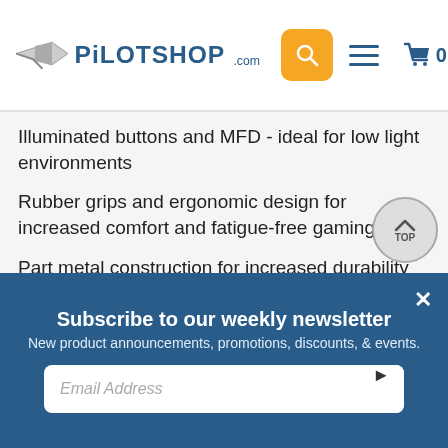PilotShop.com
Illuminated buttons and MFD - ideal for low light environments
Rubber grips and ergonomic design for increased comfort and fatigue-free gaming
Part metal construction for increased durability and authenticity
Includes Roger Wilco Chat software - the ideal accompaniment for on-line multiplayer gaming
Subscribe to our weekly newsletter
New product announcements, promotions, discounts, & events.